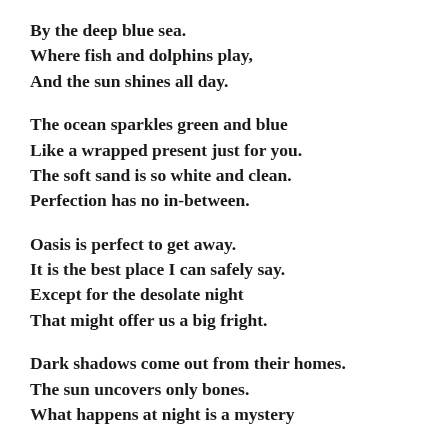By the deep blue sea.
Where fish and dolphins play,
And the sun shines all day.
The ocean sparkles green and blue
Like a wrapped present just for you.
The soft sand is so white and clean.
Perfection has no in-between.
Oasis is perfect to get away.
It is the best place I can safely say.
Except for the desolate night
That might offer us a big fright.
Dark shadows come out from their homes.
The sun uncovers only bones.
What happens at night is a mystery